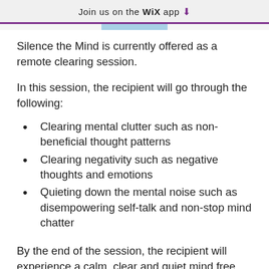Join us on the WiX app ⬇
Silence the Mind is currently offered as a remote clearing session.
In this session, the recipient will go through the following:
Clearing mental clutter such as non-beneficial thought patterns
Clearing negativity such as negative thoughts and emotions
Quieting down the mental noise such as disempowering self-talk and non-stop mind chatter
By the end of the session, the recipient will experience a calm, clear and quiet mind free from mental